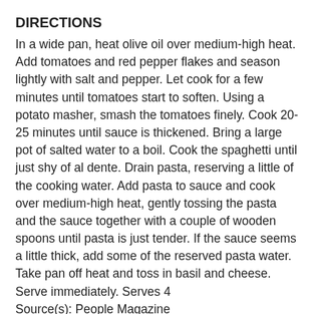DIRECTIONS
In a wide pan, heat olive oil over medium-high heat. Add tomatoes and red pepper flakes and season lightly with salt and pepper. Let cook for a few minutes until tomatoes start to soften. Using a potato masher, smash the tomatoes finely. Cook 20-25 minutes until sauce is thickened. Bring a large pot of salted water to a boil. Cook the spaghetti until just shy of al dente. Drain pasta, reserving a little of the cooking water. Add pasta to sauce and cook over medium-high heat, gently tossing the pasta and the sauce together with a couple of wooden spoons until pasta is just tender. If the sauce seems a little thick, add some of the reserved pasta water. Take pan off heat and toss in basil and cheese. Serve immediately. Serves 4
Source(s): People Magazine
Join us, September 30th, 2012 as we share our delicious, mouth-watering recipes! Here’s a sneak peak at what everyone is bringing to our #SundaySupper table. Be sure to